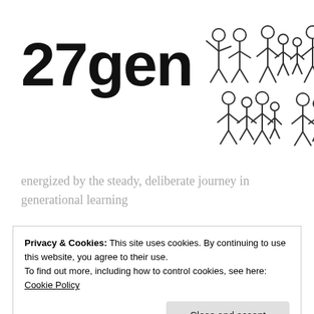[Figure (logo): 27gen logo with bold black text '27gen' and outline illustration of family groups (adults and children stick figures) to the right]
energized by the steady, deliberate journey in generational learning
Menu
Privacy & Cookies: This site uses cookies. By continuing to use this website, you agree to their use.
To find out more, including how to control cookies, see here: Cookie Policy
Tag Archives: Accuracy